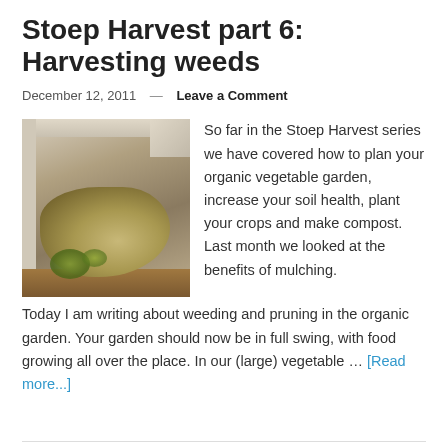Stoep Harvest part 6: Harvesting weeds
December 12, 2011 — Leave a Comment
[Figure (photo): A raised garden bed filled with a pile of dry yellow-green weeds/mulch material on brown soil, with white/grey wooden walls visible.]
So far in the Stoep Harvest series we have covered how to plan your organic vegetable garden, increase your soil health, plant your crops and make compost. Last month we looked at the benefits of mulching. Today I am writing about weeding and pruning in the organic garden. Your garden should now be in full swing, with food growing all over the place. In our (large) vegetable … [Read more...]